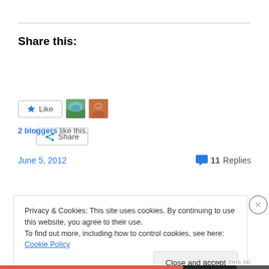Share this:
[Figure (screenshot): Share button with share icon]
[Figure (screenshot): Like button with star icon and two blogger avatars]
2 bloggers like this.
June 5, 2012   💬 11 Replies
Privacy & Cookies: This site uses cookies. By continuing to use this website, you agree to their use.
To find out more, including how to control cookies, see here: Cookie Policy
Close and accept